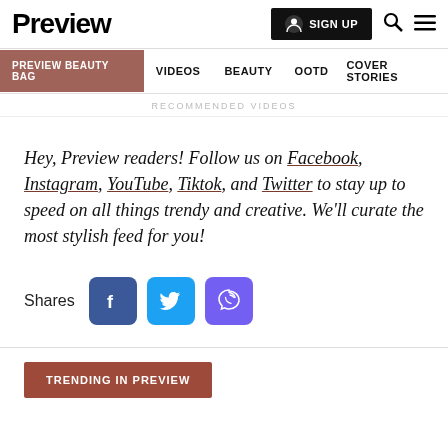Preview | SIGN UP | Search | Menu
PREVIEW BEAUTY BAG  VIDEOS  BEAUTY  OOTD  COVER STORIES
RECOMMENDED VIDEOS
Hey, Preview readers! Follow us on Facebook, Instagram, YouTube, Tiktok, and Twitter to stay up to speed on all things trendy and creative. We'll curate the most stylish feed for you!
Shares
TRENDING IN PREVIEW